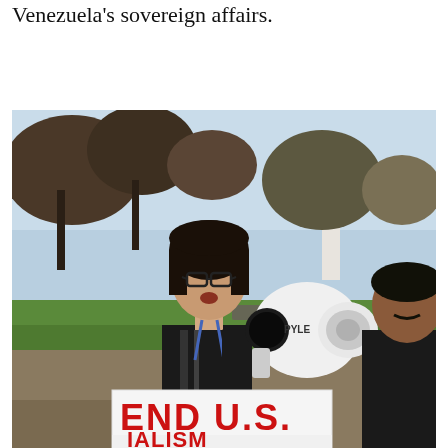Venezuela's sovereign affairs.
[Figure (photo): A person speaking into a white PYLE megaphone at an outdoor protest, wearing glasses and a black t-shirt with a blue lanyard. They hold a sign reading 'END U.S. [IMPERIALISM]' in large red letters on a white background. Another person in a black jacket stands to the right. Trees and a grassy park area are visible in the background.]